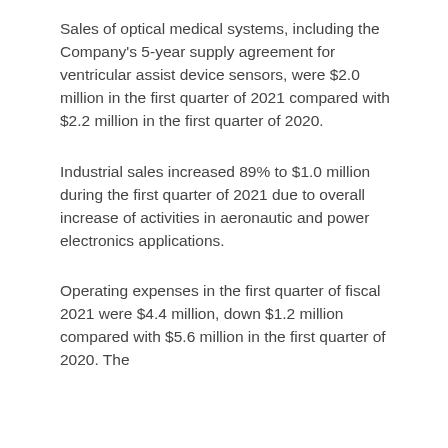Sales of optical medical systems, including the Company's 5-year supply agreement for ventricular assist device sensors, were $2.0 million in the first quarter of 2021 compared with $2.2 million in the first quarter of 2020.
Industrial sales increased 89% to $1.0 million during the first quarter of 2021 due to overall increase of activities in aeronautic and power electronics applications.
Operating expenses in the first quarter of fiscal 2021 were $4.4 million, down $1.2 million compared with $5.6 million in the first quarter of 2020. The